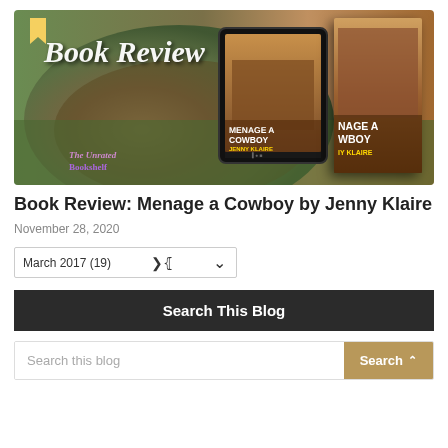[Figure (illustration): Book Review banner image with hay bale background, showing tablet and physical copies of 'Menage a Cowboy by Jenny Klaire' with 'Book Review' text overlay and 'The Unrated Bookshelf' logo]
Book Review: Menage a Cowboy by Jenny Klaire
November 28, 2020
March 2017 (19)
Search This Blog
Search this blog